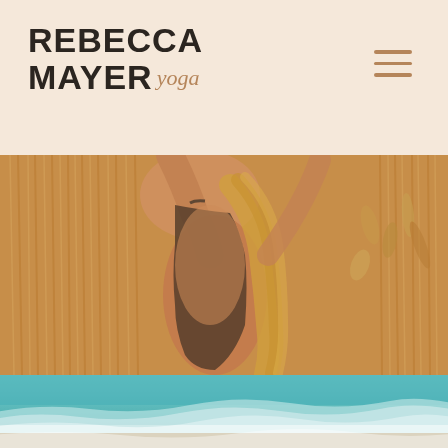REBECCA MAYER yoga
[Figure (photo): Woman from behind in dark sports top with long wavy blonde hair, surrounded by golden dried grasses and flowers, warm golden-orange toned photo]
[Figure (photo): Ocean waves washing onto shore, turquoise and teal water with white foam, calm beach scene]